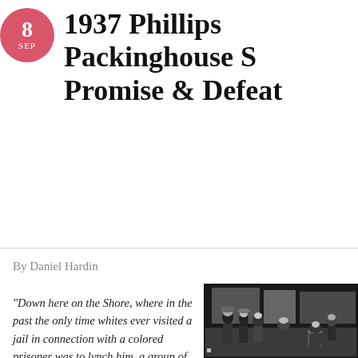8 SEP
1937 Phillips Packinghouse S… Promise & Defeat
By Daniel Hardin
“Down here on the Shore, where in the past the only time whites ever visited a jail in connection with a colored prisoner was to lynch him, a group of white strikers went to a jail and made police turn a colored striker loose.”—William N. Jones, 1937, Baltimore Afro-American newspaper
[Figure (photo): Black and white historical photograph showing a group of people standing outdoors, apparently at a strike or gathering, 1930s era.]